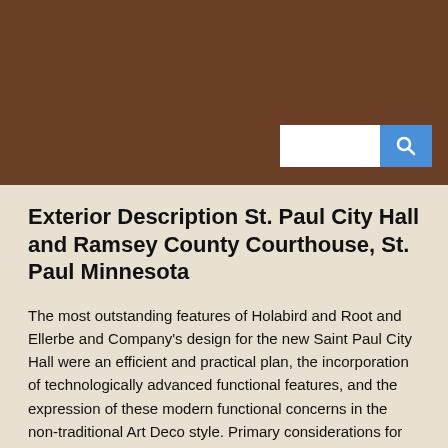[Figure (photo): Dark brown header image with a search bar (white input field and blue search button with magnifying glass icon) in the lower right corner.]
Exterior Description St. Paul City Hall and Ramsey County Courthouse, St. Paul Minnesota
The most outstanding features of Holabird and Root and Ellerbe and Company's design for the new Saint Paul City Hall were an efficient and practical plan, the incorporation of technologically advanced functional features, and the expression of these modern functional concerns in the non-traditional Art Deco style. Primary considerations for the structure, as set forth by the Advisory Commission, were accommodating "the practical necessities", and " clothing